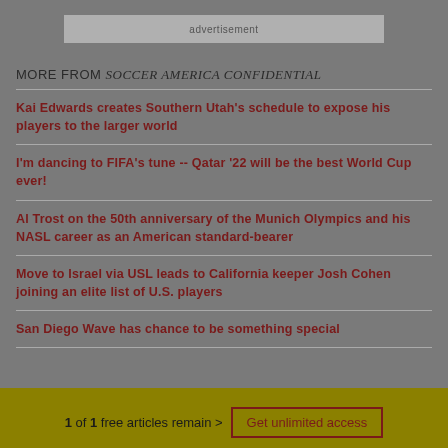[Figure (other): Advertisement banner placeholder]
MORE FROM SOCCER AMERICA CONFIDENTIAL
Kai Edwards creates Southern Utah's schedule to expose his players to the larger world
I'm dancing to FIFA's tune -- Qatar '22 will be the best World Cup ever!
Al Trost on the 50th anniversary of the Munich Olympics and his NASL career as an American standard-bearer
Move to Israel via USL leads to California keeper Josh Cohen joining an elite list of U.S. players
San Diego Wave has chance to be something special
1 of 1 free articles remain > Get unlimited access